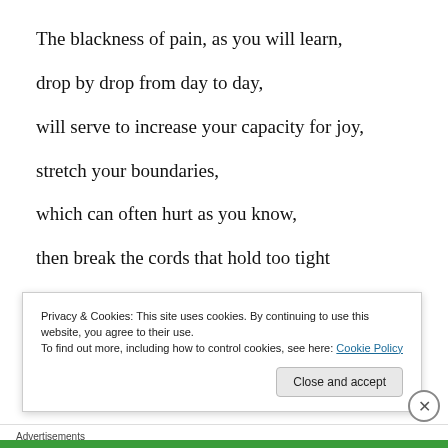The blackness of pain, as you will learn,
drop by drop from day to day,
will serve to increase your capacity for joy,
stretch your boundaries,
which can often hurt as you know,
then break the cords that hold too tight
your beautiful and sacred life
Privacy & Cookies: This site uses cookies. By continuing to use this website, you agree to their use.
To find out more, including how to control cookies, see here: Cookie Policy
Close and accept
Advertisements